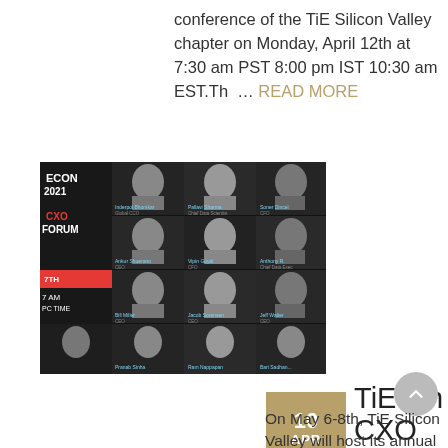conference of the TiE Silicon Valley chapter on Monday, April 12th at 7:30 am PST 8:00 pm IST 10:30 am EST.Th  … READ MORE
[Figure (photo): Dark-themed event promotional image for TiEcon CXO Forum 2021 showing a grid of speakers with names and titles on black background]
10 APR
TiEcon CXO Forum : Application Open
On May 6-8th, TiE Silicon Valley will host its annual flagship